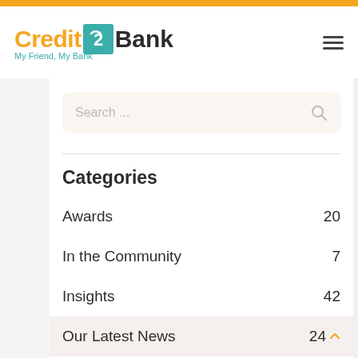[Figure (logo): Credit Bank logo with teal icon, orange 'Credit' text, dark 'Bank' text, and teal tagline 'My Friend, My Bank']
Categories
Awards  20
In the Community  7
Insights  42
Our Latest News  24